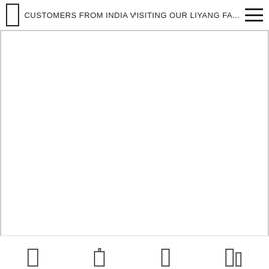CUSTOMERS FROM INDIA VISITING OUR LIYANG FA...
[Figure (other): Large blank white content area representing a webpage screenshot with a light border on left and right sides]
[Figure (infographic): Bottom navigation bar with four icons: a simple rectangle, a rectangle with a tab on top, a narrow rectangle, and a double rectangle side by side]